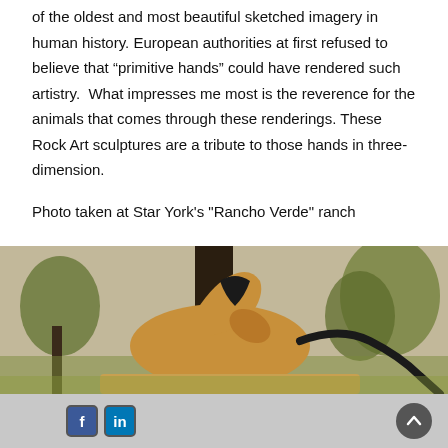of the oldest and most beautiful sketched imagery in human history. European authorities at first refused to believe that “primitive hands” could have rendered such artistry. What impresses me most is the reverence for the animals that comes through these renderings. These Rock Art sculptures are a tribute to those hands in three-dimension.
Photo taken at Star York's "Rancho Verde" ranch
[Figure (photo): A bronze horse sculpture bending its neck down, set outdoors in a park-like setting with trees in the background. The sculpture appears golden-brown in color with a dark tail.]
Facebook icon, LinkedIn icon, scroll-to-top button